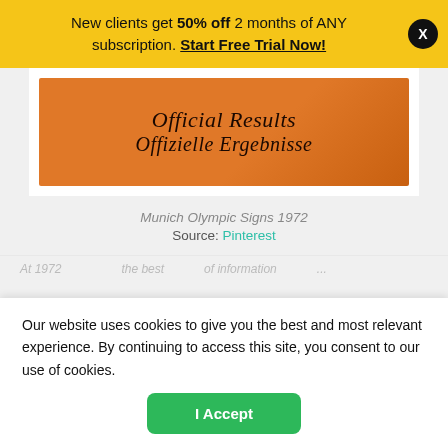New clients get 50% off 2 months of ANY subscription. Start Free Trial Now!
[Figure (photo): Book cover with orange background showing text: Official Results / Offizielle Ergebnisse]
Munich Olympic Signs 1972
Source: Pinterest
At 1972 ... the best ... of information ...
Our website uses cookies to give you the best and most relevant experience. By continuing to access this site, you consent to our use of cookies.